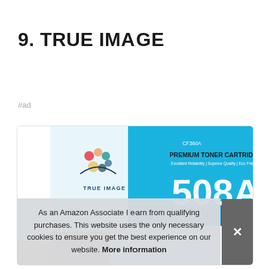9. TRUE IMAGE
#ad
[Figure (photo): True Image 508A CF360A Premium Toner Cartridge product box in blue and white packaging with True Image logo and 508A large text]
As an Amazon Associate I earn from qualifying purchases. This website uses the only necessary cookies to ensure you get the best experience on our website. More information